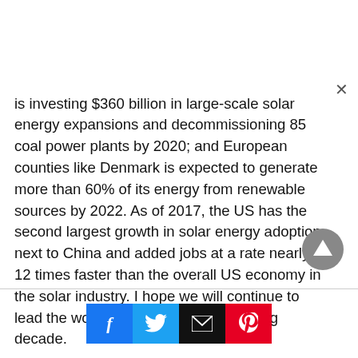is investing $360 billion in large-scale solar energy expansions and decommissioning 85 coal power plants by 2020; and European counties like Denmark is expected to generate more than 60% of its energy from renewable sources by 2022. As of 2017, the US has the second largest growth in solar energy adoption next to China and added jobs at a rate nearly 12 times faster than the overall US economy in the solar industry. I hope we will continue to lead the world by example in the coming decade.